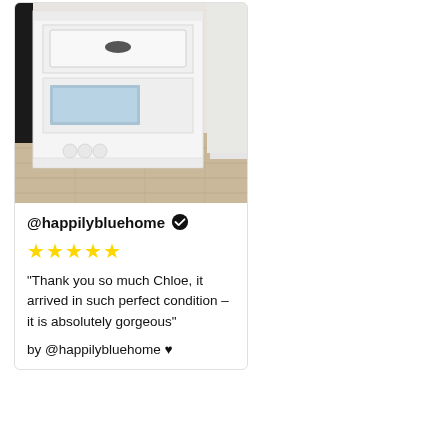[Figure (photo): Photo of a white bedside table with a drawer and open shelf, placed on light wood flooring next to a dark bed frame.]
@happilybluehome ✔
★★★★★
"Thank you so much Chloe, it arrived in such perfect condition – it is absolutely gorgeous"
by @happilybluehome ♥